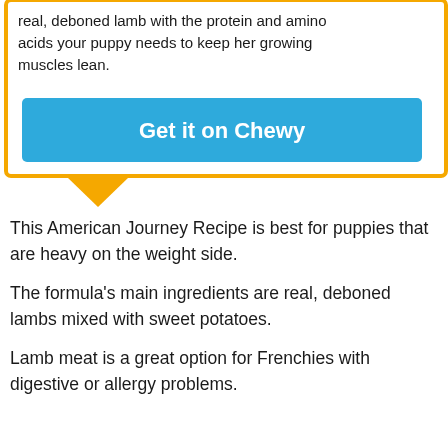real, deboned lamb with the protein and amino acids your puppy needs to keep her growing muscles lean.
[Figure (other): Blue button labeled 'Get it on Chewy' inside a yellow-bordered callout box with downward-pointing arrow]
This American Journey Recipe is best for puppies that are heavy on the weight side.
The formula's main ingredients are real, deboned lambs mixed with sweet potatoes.
Lamb meat is a great option for Frenchies with digestive or allergy problems.